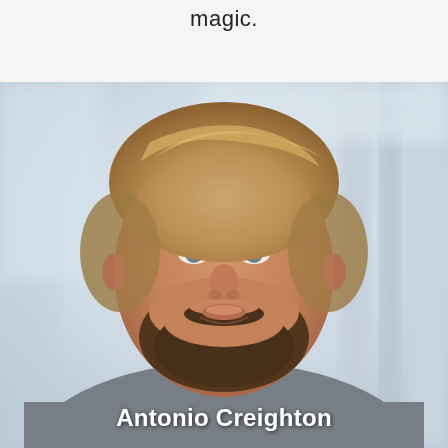magic.
[Figure (photo): Professional headshot of a man with light brown swept-back hair and a beard, wearing a grey sweatshirt over a patterned collared shirt, smiling at the camera in a bright, blurred office/indoor background.]
Antonio Creighton